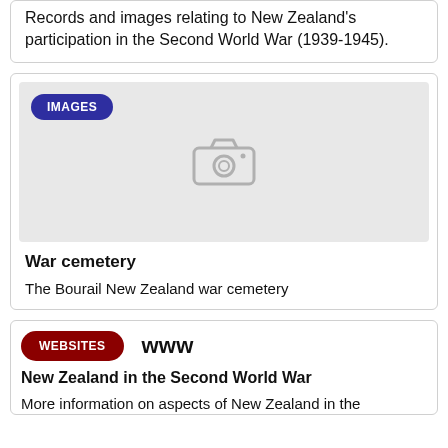Records and images relating to New Zealand's participation in the Second World War (1939-1945).
[Figure (photo): Placeholder image card with IMAGES badge and camera icon]
War cemetery
The Bourail New Zealand war cemetery
[Figure (other): Websites card with WEBSITES badge and www logo]
New Zealand in the Second World War
More information on aspects of New Zealand in the...